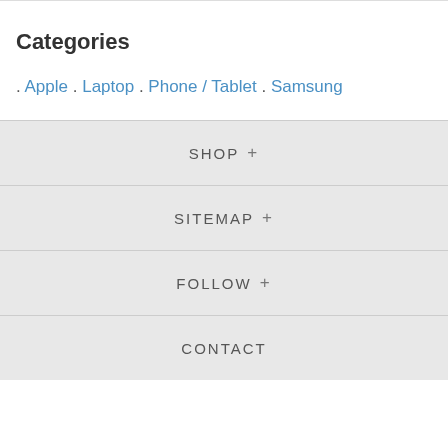Categories
. Apple . Laptop . Phone / Tablet . Samsung
SHOP +
SITEMAP +
FOLLOW +
CONTACT